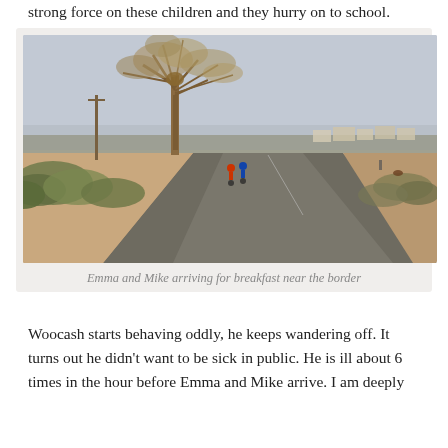strong force on these children and they hurry on to school.
[Figure (photo): Two cyclists on a wide rural road in Africa, with a large dry tree on the left, sandy terrain, sparse dry bush, and a small settlement visible in the distance on the right. The road curves to the right. The sky is pale grey-blue.]
Emma and Mike arriving for breakfast near the border
Woocash starts behaving oddly, he keeps wandering off. It turns out he didn't want to be sick in public. He is ill about 6 times in the hour before Emma and Mike arrive. I am deeply